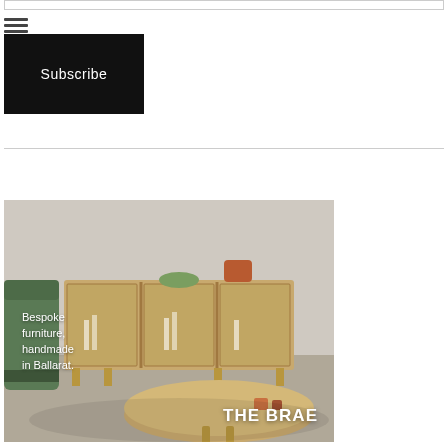[Figure (other): Top input/search bar outline]
[Figure (other): Hamburger menu icon (three horizontal lines)]
[Figure (other): Subscribe button - black rectangle with white text 'Subscribe']
[Figure (photo): Advertisement photo showing bespoke wood furniture - a sideboard with glass doors and a round coffee table in a studio setting with a green velvet sofa. Text overlay reads 'Bespoke furniture, handmade in Ballarat.' and 'THE BRAE']